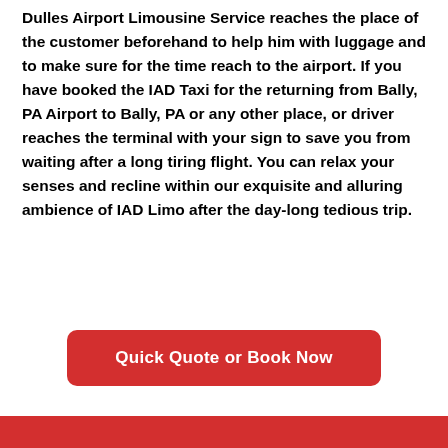The highly skilled and talented chauffeur of Luxury Dulles Airport Limousine Service reaches the place of the customer beforehand to help him with luggage and to make sure for the time reach to the airport. If you have booked the IAD Taxi for the returning from Bally, PA Airport to Bally, PA or any other place, or driver reaches the terminal with your sign to save you from waiting after a long tiring flight. You can relax your senses and recline within our exquisite and alluring ambience of IAD Limo after the day-long tedious trip.
Quick Quote or Book Now